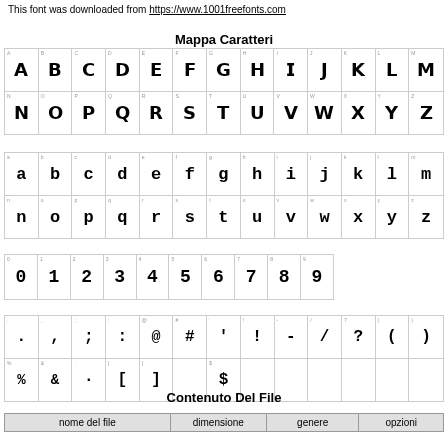This font was downloaded from https://www.1001freefonts.com
Mappa Caratteri
[Figure (other): Character map grid showing uppercase A-M in stylized bold font]
[Figure (other): Character map grid showing uppercase lowercase a-z in stylized bold font]
[Figure (other): Character map grid showing digits 0-9 in stylized bold font]
[Figure (other): Character map grid showing special characters punctuation in stylized bold font]
Contenuto Del File
| nome del file | dimensione | genere | opzioni |
| --- | --- | --- | --- |